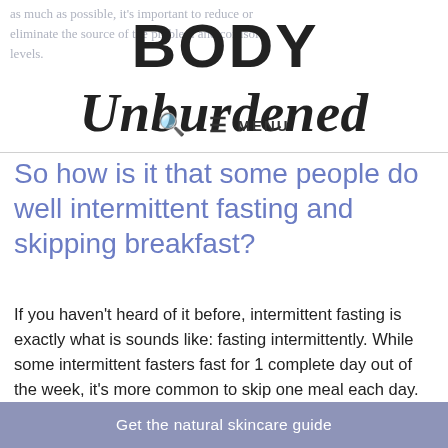as much as possible, it's important to reduce or eliminate the source of the problem and cortisol levels.
BODY Unburdened
So how is it that some people do well intermittent fasting and skipping breakfast?
If you haven't heard of it before, intermittent fasting is exactly what is sounds like: fasting intermittently. While some intermittent fasters fast for 1 complete day out of the week, it's more common to skip one meal each day. Often, this skipped meal is breakfast. Another approach is to simply constrain your eating within a 8-12 hour window (which I do — I usually stop
Get the natural skincare guide